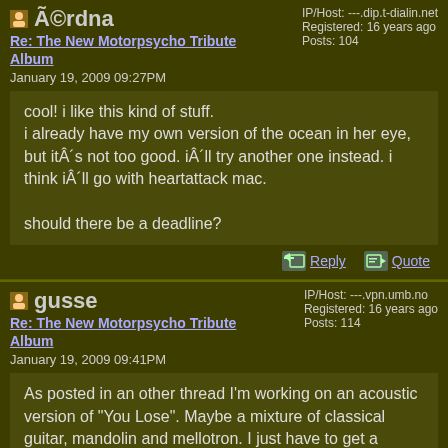Ã©rdna — IP/Host: ---.dip.t-dialin.net Registered: 16 years ago Posts: 104
Re: The New Motorpsycho Tribute Album
January 19, 2009 09:27PM
cool! i like this kind of stuff. i already have my own version of the ocean in her eye, but itÂ´s not too good. iÂ´ll try another one instead. i think iÂ´ll go with heartattack mac.

should there be a deadline?
Reply   Quote
gusse — IP/Host: ---.vpn.umb.no Registered: 16 years ago Posts: 114
Re: The New Motorpsycho Tribute Album
January 19, 2009 09:41PM
As posted in an other thread I'm working on an acoustic version of "You Lose". Maybe a mixture of classical guitar, mandolin and mellotron. I just have to get a decent soundcard to my laptop as my stationary "music" PC is almost dead.